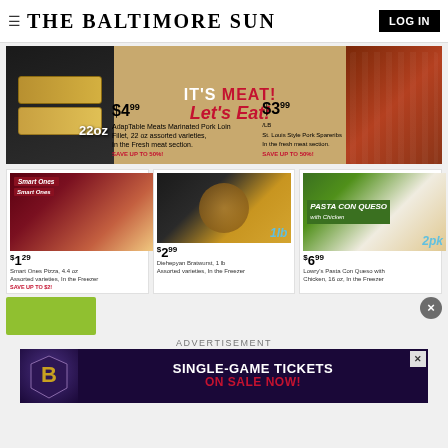THE BALTIMORE SUN
[Figure (photo): Grocery store advertisement banner: IT'S MEAT! Let's Eat! showing marinated pork loin $4.99 (22oz) and St. Louis Style Pork Spareribs $3.99/lb]
[Figure (photo): Smart Ones Pizza 4.4 oz assorted varieties in the freezer - $1.29, SAVE UP TO $2]
[Figure (photo): Diehepyan Bratwurst 1 lb assorted varieties in the freezer - $2.99]
[Figure (photo): Lowry's Pasta Con Queso with Chicken, 16 oz in the freezer - $6.99 2pk]
ADVERTISEMENT
[Figure (photo): Baltimore Ravens SINGLE-GAME TICKETS ON SALE NOW! advertisement banner]